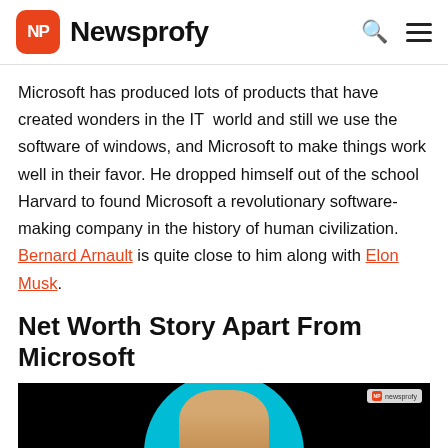NP Newsprofy
Microsoft has produced lots of products that have created wonders in the IT world and still we use the software of windows, and Microsoft to make things work well in their favor. He dropped himself out of the school Harvard to found Microsoft a revolutionary software-making company in the history of human civilization. Bernard Arnault is quite close to him along with Elon Musk.
Net Worth Story Apart From Microsoft
[Figure (photo): Photo of a person with a teal circular background against a black background, with a Newsprofy watermark in the top right corner.]